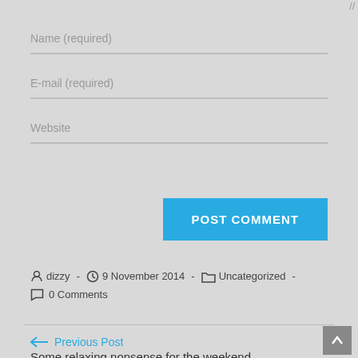Name (required)
E-mail (required)
Website
POST COMMENT
dizzy - 9 November 2014 - Uncategorized - 0 Comments
← Previous Post
Some relaxing nonsense for the weekend ...